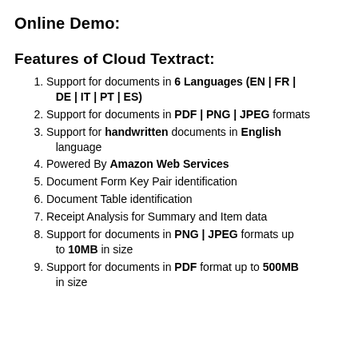Online Demo:
Features of Cloud Textract:
Support for documents in 6 Languages (EN | FR | DE | IT | PT | ES)
Support for documents in PDF | PNG | JPEG formats
Support for handwritten documents in English language
Powered By Amazon Web Services
Document Form Key Pair identification
Document Table identification
Receipt Analysis for Summary and Item data
Support for documents in PNG | JPEG formats up to 10MB in size
Support for documents in PDF format up to 500MB in size